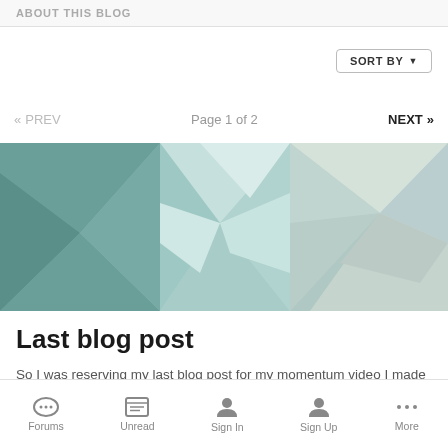ABOUT THIS BLOG
SORT BY ▾
« PREV   Page 1 of 2   NEXT »
[Figure (illustration): Abstract low-poly geometric background in teal, mint, and light gray tones]
Last blog post
So I was reserving my last blog post for my momentum video I made last year. Unfortunately I couldn't find it last night. I went
Forums  Unread  Sign In  Sign Up  More